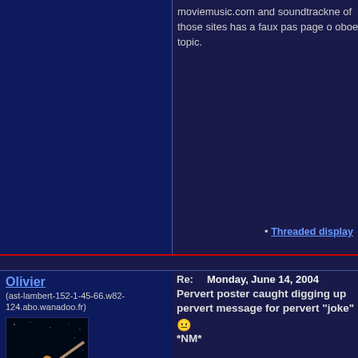moviemusic.com and soundtrackne of those sites has a faux pas page o oboe topic.
• Threaded display
Olivier (ast-lambert-152-1-45-66.w82-124.abo.wanadoo.fr)
[Figure (photo): E.T. movie poster thumbnail showing hands touching with E.T. logo]
In Response to:
↑ Walker
Responses to this Message:
↓ J. Eric Dietrich
Re: Monday, June 14, 2004
Pervert poster caught digging up pervert message for pervert "joke"
😐
*NM*